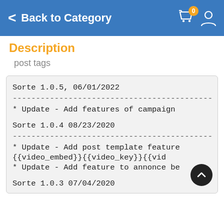Back to Category
Description
post tags
Sorte 1.0.5, 06/01/2022
---------------------------------------------------
* Update - Add features of campaign
Sorte 1.0.4 08/23/2020
---------------------------------------------------
* Update - Add post template feature {{video_embed}}{{video_key}}{{vid...
* Update - Add feature to annonce be...
Sorte 1.0.3 07/04/2020